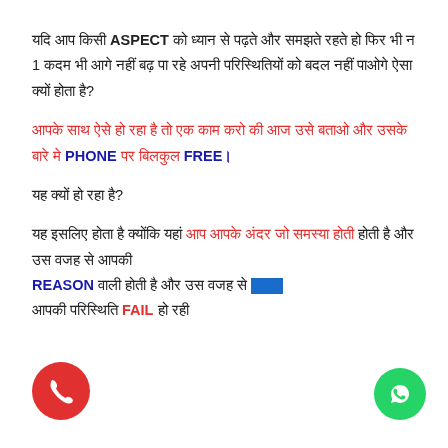यदि आप किसी ASPECT को ध्यान से पढ़ते और समझते रहते हो फिर भी न 1 कदम भी आगे नहीं बढ़ पा रहे अपनी परिस्थितियों को बदल नहीं पाओगे ऐसा क्यों होता है?
आपके साथ ऐसे हो रहा है तो एक काम करो की आज उसे बताओ और उसके बारे मे PHONE पर बिलकुल FREE।
यह क्यों हो रहा है?
यह इसलिए होता है क्योंकि यहां आप आपके अंदर जो समस्या होती REASON वाली होती है और उस वजह से आपकी परिस्थिति FAIL हो रही